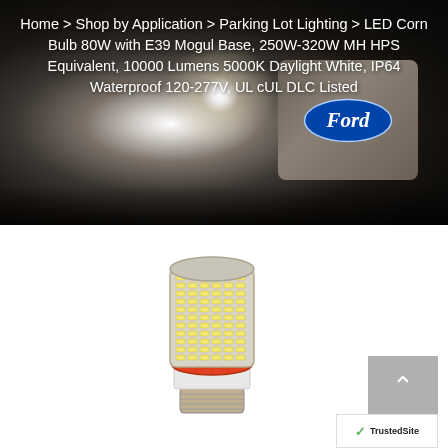[Figure (screenshot): Dark parking lot scene with bright light burst/star effect in center and a Ford truck in the background right side. The image serves as a banner for an LED lighting product page.]
Home > Shop by Application > Parking Lot Lighting > LED Corn Bulb 80W with E39 Mogul Base, 250W-320W MH HPS Equivalent, 10000 Lumens 5000K Daylight White, IP64 Waterproof 120-277V, UL cUL DLC Listed
[Figure (photo): LED corn bulb lamp with E39 mogul base, showing cylindrical body with rows of LED chips, orange/red ring near top, and threaded metal base. Shown on white background.]